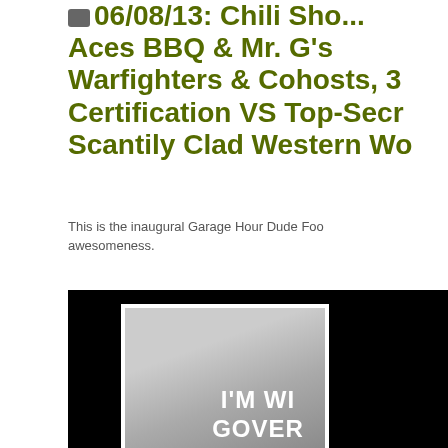06/08/13: Chili Shootout @ Aces BBQ & Mr. G's: Warfighters & Cohosts, 3-Star Certification VS Top-Secret Scantily Clad Western Wo...
This is the inaugural Garage Hour Dude Food segment of awesomeness.
[Figure (photo): Black and white photo of a person in dark clothing with gloves raising their hands, set against a black background with white text overlay reading I'M WI... GOVER...]